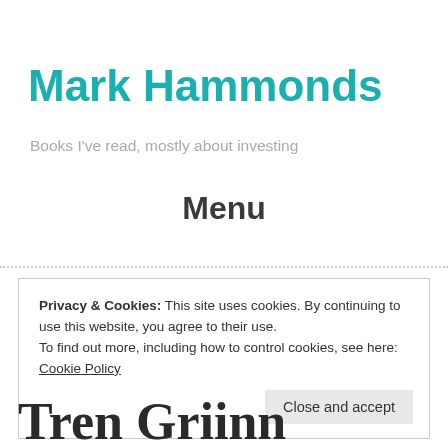Mark Hammonds
Books I've read, mostly about investing
Menu
Privacy & Cookies: This site uses cookies. By continuing to use this website, you agree to their use.
To find out more, including how to control cookies, see here: Cookie Policy
Close and accept
Tren Griinn